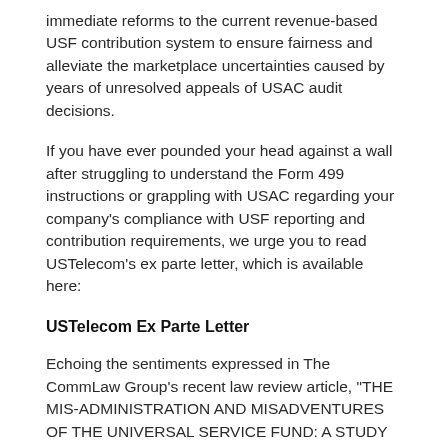immediate reforms to the current revenue-based USF contribution system to ensure fairness and alleviate the marketplace uncertainties caused by years of unresolved appeals of USAC audit decisions.
If you have ever pounded your head against a wall after struggling to understand the Form 499 instructions or grappling with USAC regarding your company's compliance with USF reporting and contribution requirements, we urge you to read USTelecom's ex parte letter, which is available here:
USTelecom Ex Parte Letter
Echoing the sentiments expressed in The CommLaw Group's recent law review article, "THE MIS-ADMINISTRATION AND MISADVENTURES OF THE UNIVERSAL SERVICE FUND: A STUDY IN THE IMPORTANCE OF THE ADMINISTRATIVE